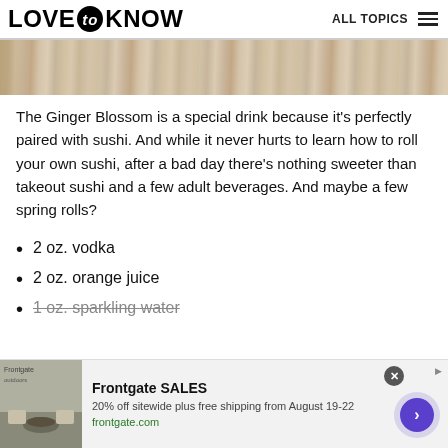LOVE to KNOW   ALL TOPICS
[Figure (photo): Close-up of weathered wood texture, cropped strip at top of page]
The Ginger Blossom is a special drink because it's perfectly paired with sushi. And while it never hurts to learn how to roll your own sushi, after a bad day there's nothing sweeter than takeout sushi and a few adult beverages. And maybe a few spring rolls?
2 oz. vodka
2 oz. orange juice
1 oz. sparkling water
[Figure (other): Advertisement banner: Frontgate SALES — 20% off sitewide plus free shipping from August 19-22, frontgate.com, with outdoor furniture image and CTA button]